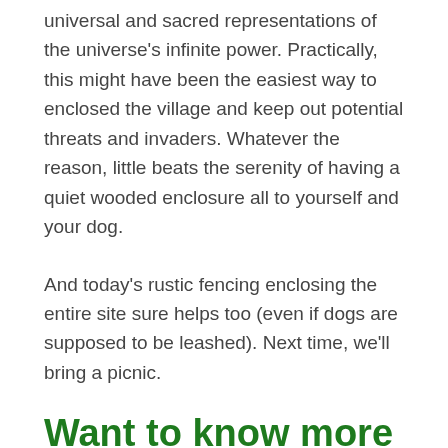universal and sacred representations of the universe's infinite power. Practically, this might have been the easiest way to enclosed the village and keep out potential threats and invaders. Whatever the reason, little beats the serenity of having a quiet wooded enclosure all to yourself and your dog.
And today's rustic fencing enclosing the entire site sure helps too (even if dogs are supposed to be leashed). Next time, we'll bring a picnic.
Want to know more about National Parks of Canada sites? Check out National